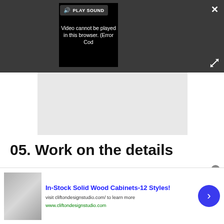[Figure (screenshot): Video player UI with dark background, play sound button, close X button, expand arrows, and video error message reading 'Video cannot be played in this browser. (Error Cod'. Below the player is a light gray area.]
05. Work on the details
[Figure (screenshot): Software interface screenshot showing toolbar with icons and a dark editing area.]
[Figure (screenshot): Advertisement banner: In-Stock Solid Wood Cabinets-12 Styles! visit cliftondesignstudio.com/ to learn more. www.cliftondesignstudio.com. Has thumbnail image on left and blue arrow button on right.]